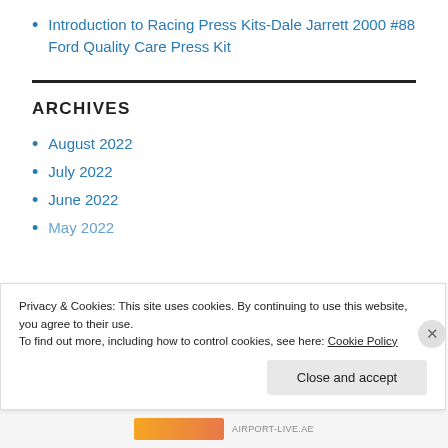Introduction to Racing Press Kits-Dale Jarrett 2000 #88 Ford Quality Care Press Kit
ARCHIVES
August 2022
July 2022
June 2022
May 2022
Privacy & Cookies: This site uses cookies. By continuing to use this website, you agree to their use.
To find out more, including how to control cookies, see here: Cookie Policy